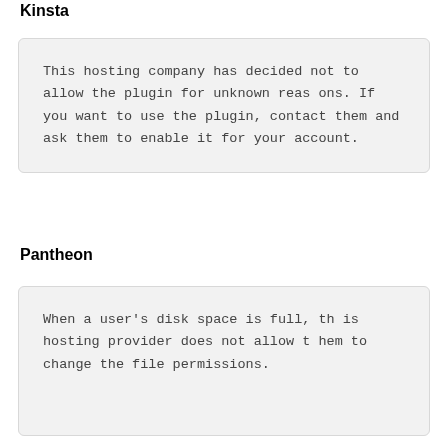Kinsta
This hosting company has decided not to allow the plugin for unknown reasons. If you want to use the plugin, contact them and ask them to enable it for your account.
Pantheon
When a user's disk space is full, this hosting provider does not allow them to change the file permissions.